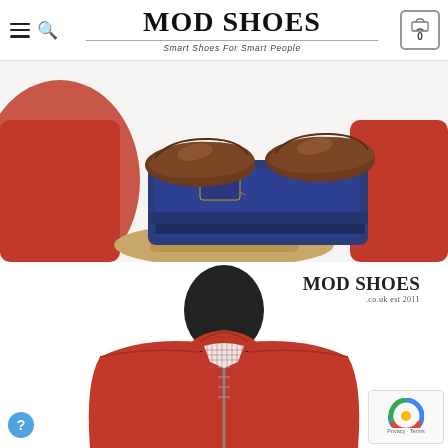[Figure (logo): Mod Shoes logo with hamburger menu and search icon on left, cart icon with 0 on right, and brand name 'MOD SHOES' with tagline 'Smart Shoes For Smart People' centered]
[Figure (photo): Product photo showing brown leather shoes placed on top of folded dark blue denim jeans on a wooden display stand, with red sweater on the side, white background]
[Figure (photo): Product photo showing a mannequin wearing a red zip-up Harrington jacket over a red and white gingham check shirt, with a black mannequin head/neck. MOD SHOES .co.uk est 2011 logo in upper right area. reCAPTCHA badge in lower right corner.]